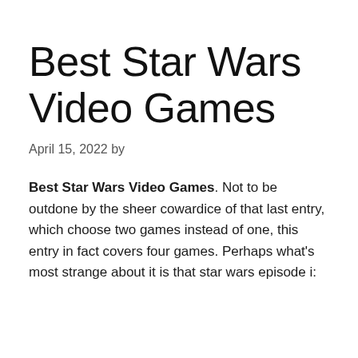Best Star Wars Video Games
April 15, 2022 by
Best Star Wars Video Games. Not to be outdone by the sheer cowardice of that last entry, which choose two games instead of one, this entry in fact covers four games. Perhaps what's most strange about it is that star wars episode i: